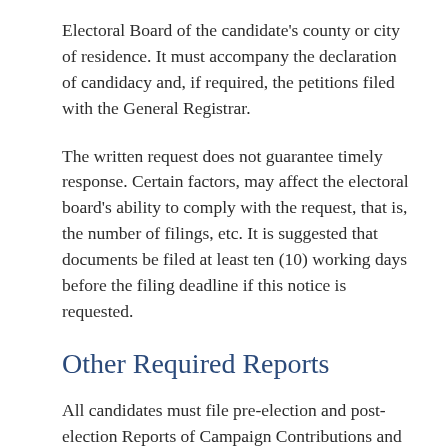Electoral Board of the candidate's county or city of residence. It must accompany the declaration of candidacy and, if required, the petitions filed with the General Registrar.
The written request does not guarantee timely response. Certain factors, may affect the electoral board's ability to comply with the request, that is, the number of filings, etc. It is suggested that documents be filed at least ten (10) working days before the filing deadline if this notice is requested.
Other Required Reports
All candidates must file pre-election and post-election Reports of Campaign Contributions and Expenditures. These reports are filed only with the Electoral Board of the candidate's county or city of residence and are due even if no contributions are received nor expenditures are made. In this case, only a Report of No Activity must be filed. Forms are prescribed by, and available from, the State Board of